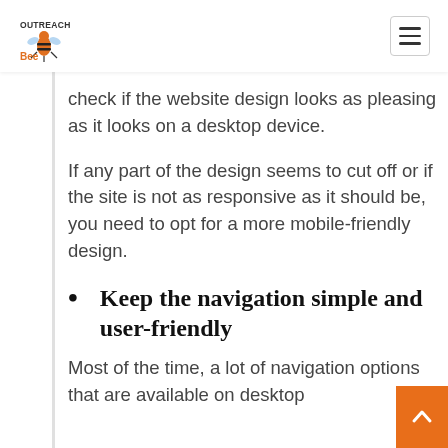OutreachBee logo and navigation menu
check if the website design looks as pleasing as it looks on a desktop device.
If any part of the design seems to cut off or if the site is not as responsive as it should be, you need to opt for a more mobile-friendly design.
Keep the navigation simple and user-friendly
Most of the time, a lot of navigation options that are available on desktop